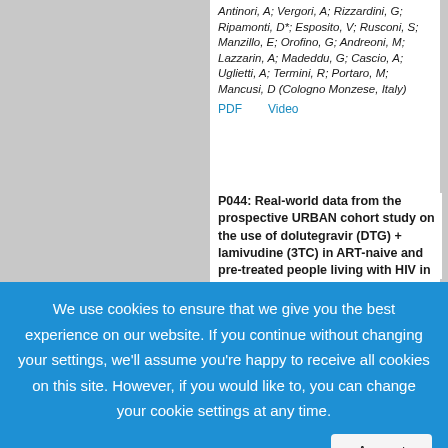Antinori, A; Vergori, A; Rizzardini, G; Ripamonti, D*; Esposito, V; Rusconi, S; Manzillo, E; Orofino, G; Andreoni, M; Lazzarin, A; Madeddu, G; Cascio, A; Uglietti, A; Termini, R; Portaro, M; Mancusi, D (Cologno Monzese, Italy)
PDF   Video
P044: Real-world data from the prospective URBAN cohort study on the use of dolutegravir (DTG) + lamivudine (3TC) in ART-naive and pre-treated people living with HIV in
We use cookies to ensure that we give you the best experience on our website. If you continue without changing your settings, we'll assume you're happy to receive all cookies on this site. However, if you would like to, you can change your cookie settings at any time.